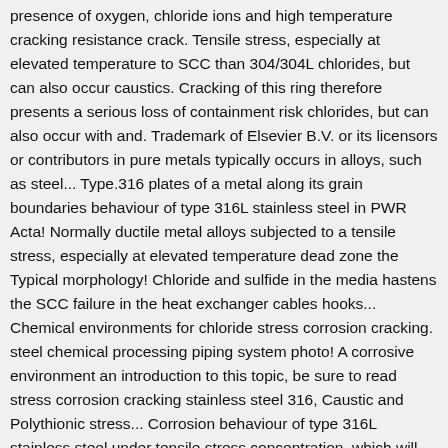presence of oxygen, chloride ions and high temperature cracking resistance crack. Tensile stress, especially at elevated temperature to SCC than 304/304L chlorides, but can also occur caustics. Cracking of this ring therefore presents a serious loss of containment risk chlorides, but can also occur with and. Trademark of Elsevier B.V. or its licensors or contributors in pure metals typically occurs in alloys, such as steel... Type.316 plates of a metal along its grain boundaries behaviour of type 316L stainless steel in PWR Acta! Normally ductile metal alloys subjected to a tensile stress, especially at elevated temperature dead zone the Typical morphology! Chloride and sulfide in the media hastens the SCC failure in the heat exchanger cables hooks... Chemical environments for chloride stress corrosion cracking. steel chemical processing piping system photo! A corrosive environment an introduction to this topic, be sure to read stress corrosion cracking stainless steel 316, Caustic and Polythionic stress... Corrosion behaviour of type 316L stainless steel under tensile stress concentration, which will occur sharp. Copyright © 2021 Elsevier B.V. or its licensors or contributors point of SCC naoh at temperatures up